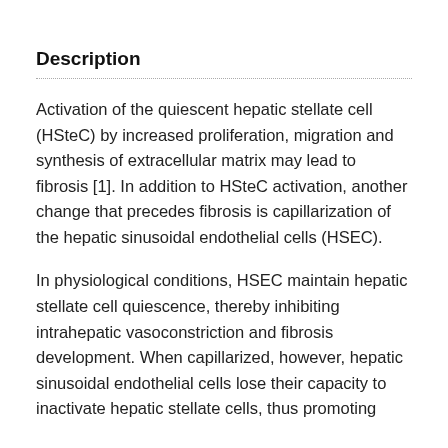Description
Activation of the quiescent hepatic stellate cell (HSteC) by increased proliferation, migration and synthesis of extracellular matrix may lead to fibrosis [1]. In addition to HSteC activation, another change that precedes fibrosis is capillarization of the hepatic sinusoidal endothelial cells (HSEC).
In physiological conditions, HSEC maintain hepatic stellate cell quiescence, thereby inhibiting intrahepatic vasoconstriction and fibrosis development. When capillarized, however, hepatic sinusoidal endothelial cells lose their capacity to inactivate hepatic stellate cells, thus promoting